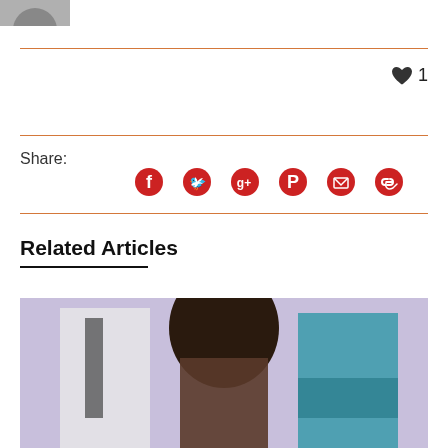[Figure (photo): Partial image of a person at top left corner]
♥ 1
Share:
[Figure (infographic): Social share icons: Facebook, Twitter, Google+, Pinterest, Email, Link]
Related Articles
[Figure (photo): Photo of three people from behind: a woman with long dark curly hair in the center, a man in a white shirt and tie on the left, and a man in a teal shirt with arms crossed on the right]